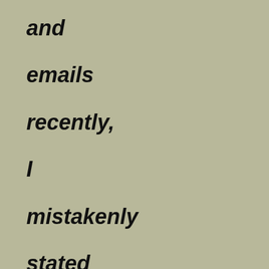and emails recently, I mistakenly stated that the Kurdish Hit took place in Switzerland, I was WRONG in that statement If there are doubts about Ahmadinejad's involvement